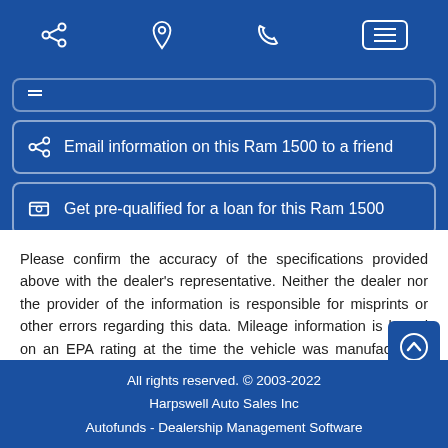Navigation bar with share, location, phone, and menu icons
Email information on this Ram 1500 to a friend
Get pre-qualified for a loan for this Ram 1500
Please confirm the accuracy of the specifications provided above with the dealer's representative. Neither the dealer nor the provider of the information is responsible for misprints or other errors regarding this data. Mileage information is based on an EPA rating at the time the vehicle was manufactured. Actual mileage will vary with options, driving conditions, habits, and vehicle's condition.
All rights reserved. © 2003-2022
Harpswell Auto Sales Inc
Autofunds - Dealership Management Software